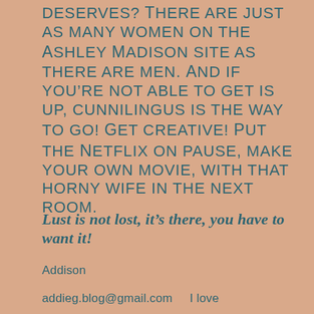deserves? There are just as many women on the Ashley Madison site as there are men. And if you’re not able to get is up, cunnilingus is the way to go! Get creative! Put the Netflix on pause, make your own movie, with that horny wife in the next room.
Lust is not lost, it’s there, you have to want it!
Addison
addieg.blog@gmail.com    I love